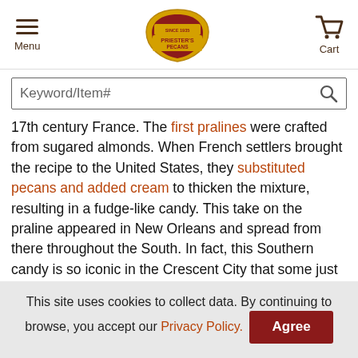Menu | Priester's Pecans logo | Cart
Keyword/Item#
17th century France. The first pralines were crafted from sugared almonds. When French settlers brought the recipe to the United States, they substituted pecans and added cream to thicken the mixture, resulting in a fudge-like candy. This take on the praline appeared in New Orleans and spread from there throughout the South. In fact, this Southern candy is so iconic in the Crescent City that some just call them New Orleans pralines.

Priester's Pecan Pralines are cooked in small batches...
This site uses cookies to collect data. By continuing to browse, you accept our Privacy Policy. Agree